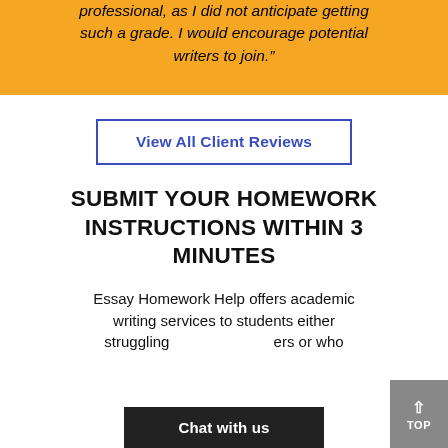professional, as I did not anticipate getting such a grade. I would encourage potential writers to join."
View All Client Reviews
SUBMIT YOUR HOMEWORK INSTRUCTIONS WITHIN 3 MINUTES
Essay Homework Help offers academic writing services to students either struggling ... ers or who
Chat with us